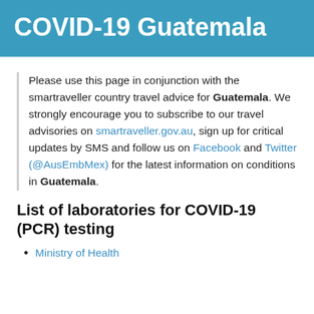COVID-19 Guatemala
Please use this page in conjunction with the smartraveller country travel advice for Guatemala. We strongly encourage you to subscribe to our travel advisories on smartraveller.gov.au, sign up for critical updates by SMS and follow us on Facebook and Twitter (@AusEmbMex) for the latest information on conditions in Guatemala.
List of laboratories for COVID-19 (PCR) testing
Ministry of Health